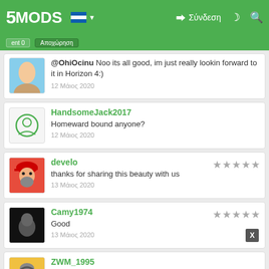5MODS — Σύνδεση
@OhiOcinu Noo its all good, im just really lookin forward to it in Horizon 4:)
12 Μάιος 2020
HandsomeJack2017
Homeward bound anyone?
12 Μάιος 2020
develo
thanks for sharing this beauty with us
13 Μάιος 2020
Camy1974
Good
13 Μάιος 2020
ZWM_1995